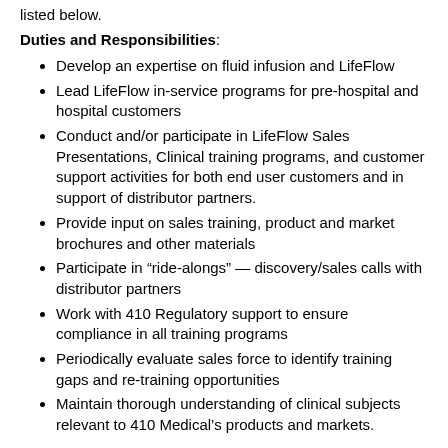listed below.
Duties and Responsibilities:
Develop an expertise on fluid infusion and LifeFlow
Lead LifeFlow in-service programs for pre-hospital and hospital customers
Conduct and/or participate in LifeFlow Sales Presentations, Clinical training programs, and customer support activities for both end user customers and in support of distributor partners.
Provide input on sales training, product and market brochures and other materials
Participate in "ride-alongs" — discovery/sales calls with distributor partners
Work with 410 Regulatory support to ensure compliance in all training programs
Periodically evaluate sales force to identify training gaps and re-training opportunities
Maintain thorough understanding of clinical subjects relevant to 410 Medical's products and markets.